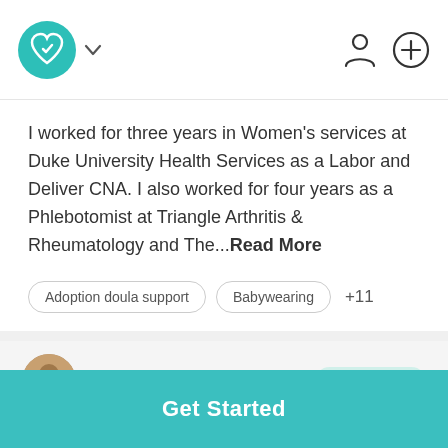Doula Match app header with logo, chevron, person icon, and plus icon
I worked for three years in Women's services at Duke University Health Services as a Labor and Deliver CNA. I also worked for four years as a Phlebotomist at Triangle Arthritis & Rheumatology and The...Read More
Adoption doula support
Babywearing
+11
$ FLEXIBLE
Get Started